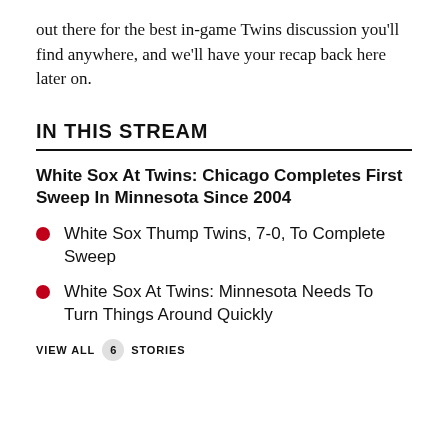out there for the best in-game Twins discussion you'll find anywhere, and we'll have your recap back here later on.
IN THIS STREAM
White Sox At Twins: Chicago Completes First Sweep In Minnesota Since 2004
White Sox Thump Twins, 7-0, To Complete Sweep
White Sox At Twins: Minnesota Needs To Turn Things Around Quickly
VIEW ALL 6 STORIES